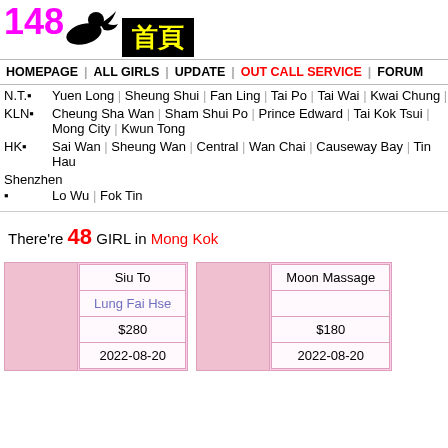[Figure (logo): 148 logo with silhouette and Chinese characters 首頁 on black background]
HOMEPAGE | ALL GIRLS | UPDATE | OUT CALL SERVICE | FORUM
N.T. Yuen Long | Sheung Shui | Fan Ling | Tai Po | Tai Wai | Kwai Chung |
KLN Cheung Sha Wan | Sham Shui Po | Prince Edward | Tai Kok Tsui | Mong City | Kwun Tong
HK Sai Wan | Sheung Wan | Central | Wan Chai | Causeway Bay | Tin Hau
Shenzhen Lo Wu | Fok Tin
There're 48 GIRL in Mong Kok
| (photo) | Siu To | (photo2) | Moon Massage |
| --- | --- | --- | --- |
|  | Lung Fai Hse |  |  |
|  | $280 |  | $180 |
|  | 2022-08-20 |  | 2022-08-20 |